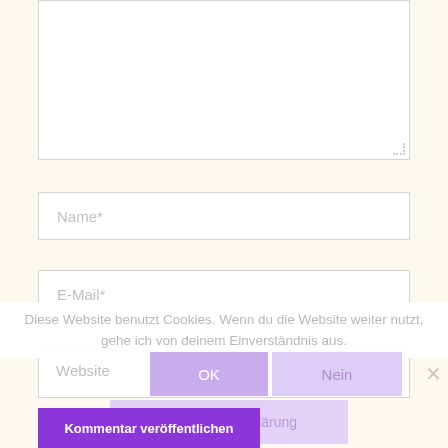[Figure (screenshot): Web form with textarea (comment box), Name input, E-Mail input, Website input fields, and a cookie consent overlay with OK and Nein buttons and a Datenschutzerklärung link button, plus a Kommentar veröffentlichen submit button.]
Name*
E-Mail*
Diese Website benutzt Cookies. Wenn du die Website weiter nutzt, gehe ich von deinem Einverständnis aus.
Website
OK
Nein
Datenschutzerklärung
Kommentar veröffentlichen